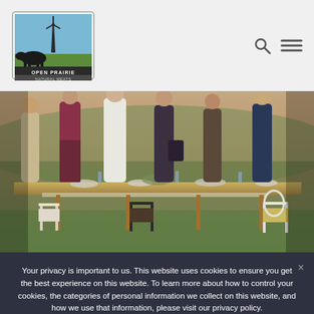[Figure (logo): Open Prairie Natural Meats logo — square logo with sky, windmill, and cattle silhouette]
[Figure (photo): Outdoor dinner party scene — group of people standing around a long dining table set with food and drinks in a rural/field setting at dusk]
Your privacy is important to us. This website uses cookies to ensure you get the best experience on this website. To learn more about how to control your cookies, the categories of personal information we collect on this website, and how we use that information, please visit our privacy policy.
Accept
Privacy policy